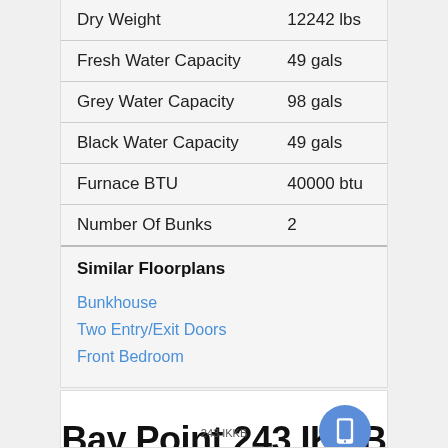| Specification | Value |
| --- | --- |
| Dry Weight | 12242 lbs |
| Fresh Water Capacity | 49 gals |
| Grey Water Capacity | 98 gals |
| Black Water Capacity | 49 gals |
| Furnace BTU | 40000 btu |
| Number Of Bunks | 2 |
Similar Floorplans
Bunkhouse
Two Entry/Exit Doors
Front Bedroom
Bay Point 243 IKKB
243 IKKB